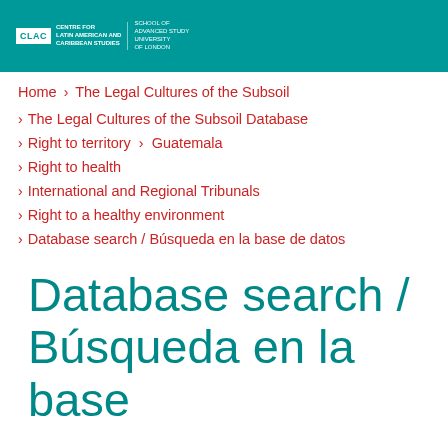CLAC | Centre for Latin American and Caribbean Studies | School of Advanced Study, University of London
Home > The Legal Cultures of the Subsoil
> The Legal Cultures of the Subsoil Database
> Right to territory > Guatemala
> Right to health
> International and Regional Tribunals
> Right to a healthy environment
> Database search / Búsqueda en la base de datos
Database search / Búsqueda en la base